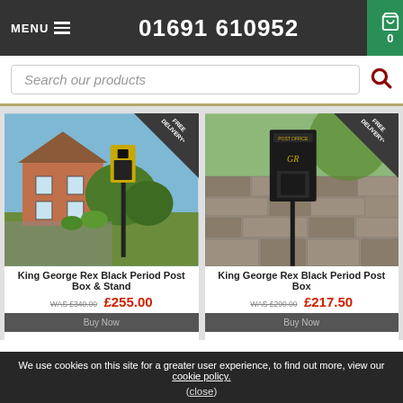MENU   01691 610952   0
Search our products
[Figure (photo): King George Rex Black Period Post Box & Stand on a tall pole in front of a countryside house, with a Free Delivery corner badge]
King George Rex Black Period Post Box & Stand
WAS £340.00  £255.00
Buy Now
[Figure (photo): King George Rex Black Period Post Box mounted on a pole against a stone wall, with a Free Delivery corner badge]
King George Rex Black Period Post Box
WAS £290.00  £217.50
Buy Now
We use cookies on this site for a greater user experience, to find out more, view our cookie policy. (close)